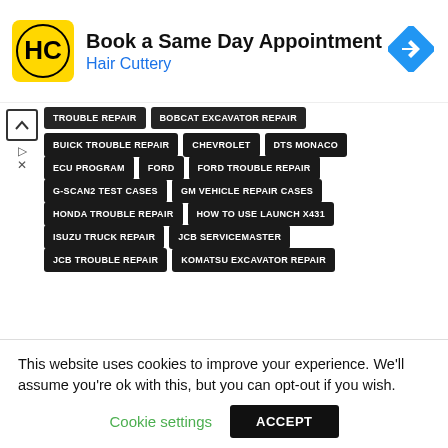[Figure (other): Hair Cuttery advertisement banner with logo, 'Book a Same Day Appointment' heading, blue navigation arrow icon]
TROUBLE REPAIR
BOBCAT EXCAVATOR REPAIR
BUICK TROUBLE REPAIR
CHEVROLET
DTS MONACO
ECU PROGRAM
FORD
FORD TROUBLE REPAIR
G-SCAN2 TEST CASES
GM VEHICLE REPAIR CASES
HONDA TROUBLE REPAIR
HOW TO USE LAUNCH X431
ISUZU TRUCK REPAIR
JCB SERVICEMASTER
JCB TROUBLE REPAIR
KOMATSU EXCAVATOR REPAIR
This website uses cookies to improve your experience. We'll assume you're ok with this, but you can opt-out if you wish.
Cookie settings   ACCEPT